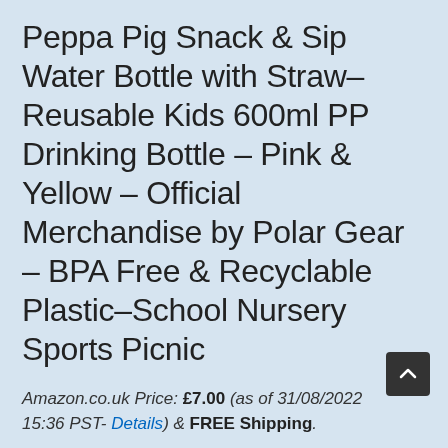Peppa Pig Snack & Sip Water Bottle with Straw–Reusable Kids 600ml PP Drinking Bottle – Pink & Yellow – Official Merchandise by Polar Gear – BPA Free & Recyclable Plastic–School Nursery Sports Picnic
Amazon.co.uk Price: £7.00 (as of 31/08/2022 15:36 PST- Details) & FREE Shipping.
OFFICIAL PEPPA PIG SNACK & SIP BOTTLE: Our cute Peppa Pig bottle design featuring Peppa &